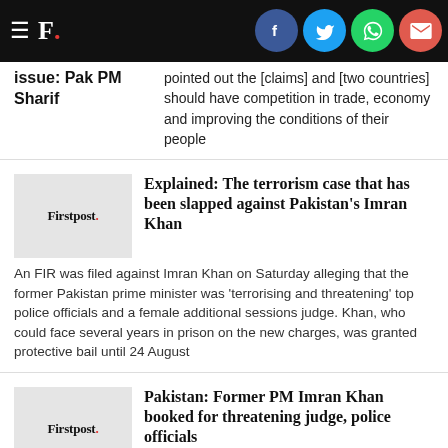F. [Firstpost logo with social share icons: Facebook, Twitter, WhatsApp, Email]
pointed out the [claims] and [two countries] should have competition in trade, economy and improving the conditions of their people
issue: Pak PM Sharif
Explained: The terrorism case that has been slapped against Pakistan's Imran Khan
An FIR was filed against Imran Khan on Saturday alleging that the former Pakistan prime minister was 'terrorising and threatening' top police officials and a female additional sessions judge. Khan, who could face several years in prison on the new charges, was granted protective bail until 24 August
Pakistan: Former PM Imran Khan booked for threatening judge, police officials
Pakistan's media regulatory authority banned the broadcasting of live speeches of